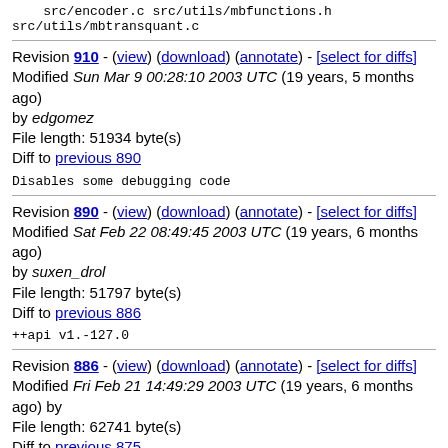src/encoder.c src/utils/mbfunctions.h
src/utils/mbtransquant.c
Revision 910 - (view) (download) (annotate) - [select for diffs]
Modified Sun Mar 9 00:28:10 2003 UTC (19 years, 5 months ago) by edgomez
File length: 51934 byte(s)
Diff to previous 890
Disables some debugging code
Revision 890 - (view) (download) (annotate) - [select for diffs]
Modified Sat Feb 22 08:49:45 2003 UTC (19 years, 6 months ago) by suxen_drol
File length: 51797 byte(s)
Diff to previous 886
++api v1.-127.0
Revision 886 - (view) (download) (annotate) - [select for diffs]
Modified Fri Feb 21 14:49:29 2003 UTC (19 years, 6 months ago) by
File length: 62741 byte(s)
Diff to previous 875
This commit was manufactured by cvs2svn to create